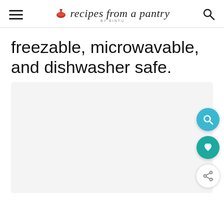recipes from a pantry BY BINTU
freezable, microwavable, and dishwasher safe.
[Figure (other): Light gray placeholder image area with floating action buttons: teal search button, teal heart/favorite button, and white share button on the right side]